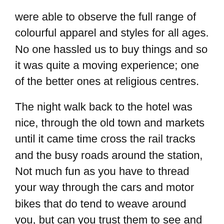were able to observe the full range of colourful apparel and styles for all ages. No one hassled us to buy things and so it was quite a moving experience; one of the better ones at religious centres.
The night walk back to the hotel was nice, through the old town and markets until it came time cross the rail tracks and the busy roads around the station, Not much fun as you have to thread your way through the cars and motor bikes that do tend to weave around you, but can you trust them to see and to avoid you.
Oct 12,13 – Amritsar
We walked to a park and visited a museum, dedicated to Maharaja Ranjit Singh, the same guy who gilded the Golden Temple. The temple illustrates, using colourful dioramas P...